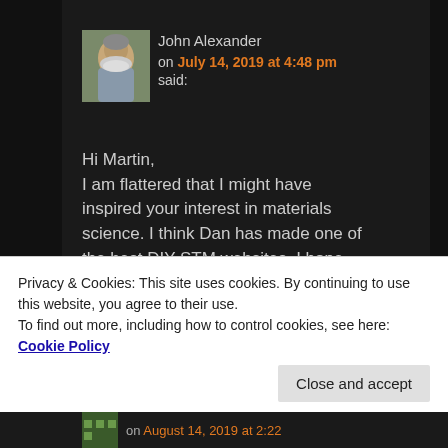[Figure (photo): Avatar photo of John Alexander, a man with white beard]
John Alexander
on July 14, 2019 at 4:48 pm
said:
Hi Martin,
I am flattered that I might have inspired your interest in materials science. I think Dan has made one of the best DIY STM websites. I hope he inspires others.
Privacy & Cookies: This site uses cookies. By continuing to use this website, you agree to their use.
To find out more, including how to control cookies, see here: Cookie Policy
Close and accept
on August 14, 2019 at 2:22